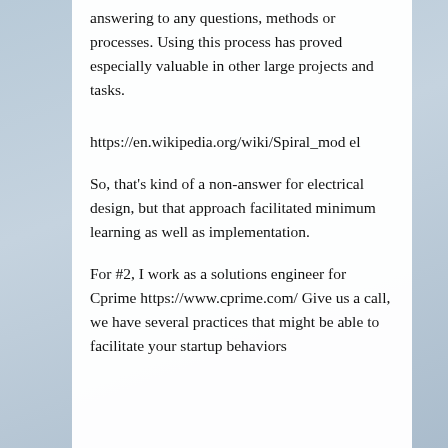answering to any questions, methods or processes. Using this process has proved especially valuable in other large projects and tasks.
https://en.wikipedia.org/wiki/Spiral_model
So, that's kind of a non-answer for electrical design, but that approach facilitated minimum learning as well as implementation.
For #2, I work as a solutions engineer for Cprime https://www.cprime.com/ Give us a call, we have several practices that might be able to facilitate your startup behaviors